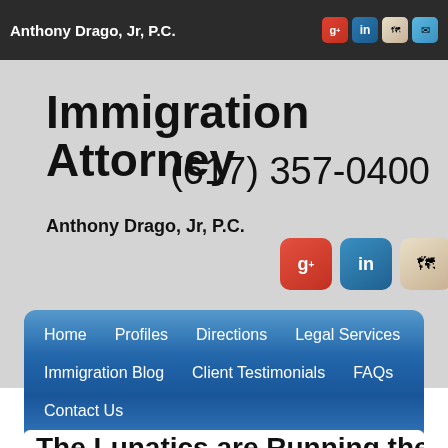Anthony Drago, Jr, P.C.
Immigration Attorney
(617) 357-0400
Anthony Drago, Jr, P.C.
[Figure (infographic): Social media icon buttons: Google+, LinkedIn, Maps, Email]
Home
Profiles
Directions
Legal Services
Immigration Blog
Client Testimonials
FAQs
Contact Us
The Lunatics are Running the